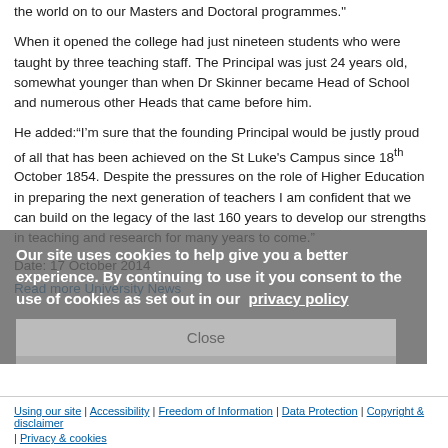the world on to our Masters and Doctoral programmes."
When it opened the college had just nineteen students who were taught by three teaching staff. The Principal was just 24 years old, somewhat younger than when Dr Skinner became Head of School and numerous other Heads that came before him.
He added:“I’m sure that the founding Principal would be justly proud of all that has been achieved on the St Luke’s Campus since 18th October 1854. Despite the pressures on the role of Higher Education in preparing the next generation of teachers I am confident that we can build on the legacy of the last 160 years to develop our strengths in teaching and research for many years to come.”
Date: 17 October 2014
Read more University News
Our site uses cookies to help give you a better experience. By continuing to use it you consent to the use of cookies as set out in our privacy policy
Close
Using our site | Accessibility | Freedom of Information | Data Protection | Copyright & disclaimer | Privacy & cookies